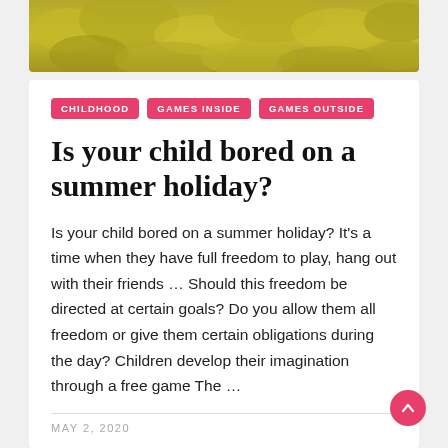[Figure (photo): Greenish-yellow outdoor field/plants banner image at top of page]
CHILDHOOD   GAMES INSIDE   GAMES OUTSIDE
Is your child bored on a summer holiday?
Is your child bored on a summer holiday? It's a time when they have full freedom to play, hang out with their friends … Should this freedom be directed at certain goals? Do you allow them all freedom or give them certain obligations during the day? Children develop their imagination through a free game The …
MAY 2, 2020